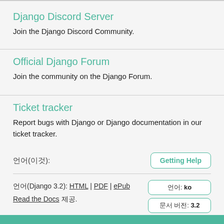Django Discord Server
Join the Django Discord Community.
Official Django Forum
Join the community on the Django Forum.
Ticket tracker
Report bugs with Django or Django documentation in our ticket tracker.
언어(Django 3.2): HTML | PDF | ePub
Read the Docs 제공.
Getting Help
언어: ko
문서 버전: 3.2